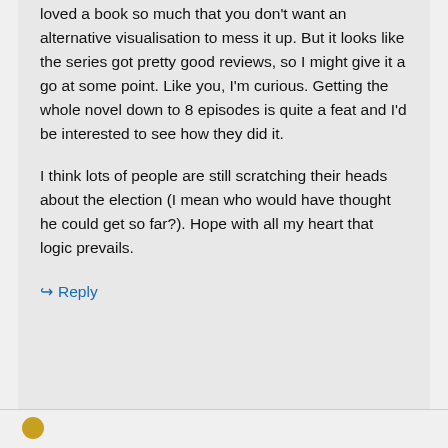loved a book so much that you don't want an alternative visualisation to mess it up. But it looks like the series got pretty good reviews, so I might give it a go at some point. Like you, I'm curious. Getting the whole novel down to 8 episodes is quite a feat and I'd be interested to see how they did it.
I think lots of people are still scratching their heads about the election (I mean who would have thought he could get so far?). Hope with all my heart that logic prevails.
↳ Reply